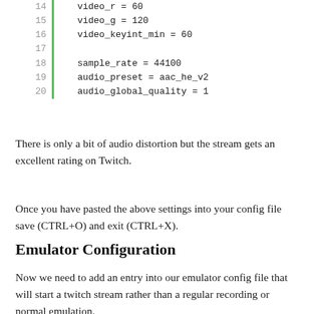14    video_r = 60
15    video_g = 120
16    video_keyint_min = 60
17
18    sample_rate = 44100
19    audio_preset = aac_he_v2
20    audio_global_quality = 1
There is only a bit of audio distortion but the stream gets an excellent rating on Twitch.
Once you have pasted the above settings into your config file save (CTRL+O) and exit (CTRL+X).
Emulator Configuration
Now we need to add an entry into our emulator config file that will start a twitch stream rather than a regular recording or normal emulation.